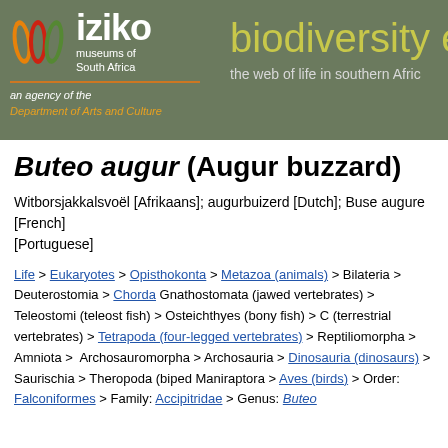[Figure (logo): Iziko Museums of South Africa logo with leaf icons and biodiversity explorer header banner]
Buteo augur (Augur buzzard)
Witborsjakkalsvoël [Afrikaans]; augurbuizerd [Dutch]; Buse augure [French]; [Portuguese]
Life > Eukaryotes > Opisthokonta > Metazoa (animals) > Bilateria > Deuterostomia > Chorda... Gnathostomata (jawed vertebrates) > Teleostomi (teleost fish) > Osteichthyes (bony fish) > C... (terrestrial vertebrates) > Tetrapoda (four-legged vertebrates) > Reptiliomorpha > Amniota > ... Archosauromorpha > Archosauria > Dinosauria (dinosaurs) > Saurischia > Theropoda (biped... Maniraptora > Aves (birds) > Order: Falconiformes > Family: Accipitridae > Genus: Buteo